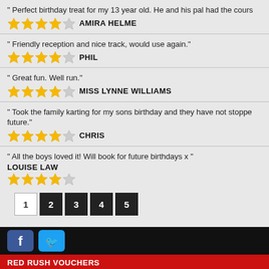" Perfect birthday treat for my 13 year old. He and his pal had the cours
AMIRA HELME — 4 stars
" Friendly reception and nice track, would use again."
PHIL — 4 stars
" Great fun. Well run."
MISS LYNNE WILLIAMS — 4 stars
" Took the family karting for my sons birthday and they have not stoppe future."
CHRIS — 4 stars
" All the boys loved it! Will book for future birthdays x "
LOUISE LAW — 4 stars
Pagination: 1 2 3 4 5
[Figure (logo): Facebook and Twitter social media icons in the footer]
RED RUSH VOUCHERS